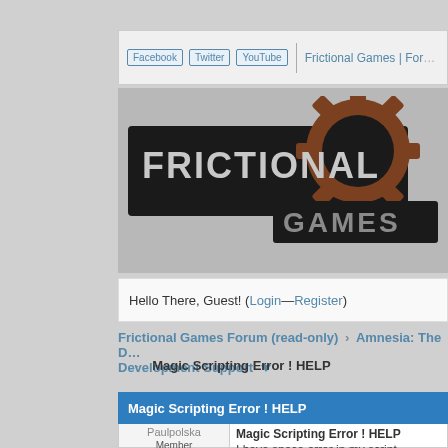Facebook | Twitter | YouTube | Frictional Games | For...
[Figure (logo): Frictional Games logo with gear and metallic text]
Hello There, Guest! (Login — Register)
Frictional Games Forum (read-only) › Amnesia: The D... Development Support
Magic Scripting Error ! HELP
Magic Scripting Error ! HELP
Paulpolska  Member
Magic Scripting Error ! HELP
I have space error in my script
While man is loading game show...